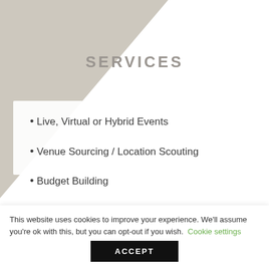SERVICES
Live, Virtual or Hybrid Events
Venue Sourcing / Location Scouting
Budget Building
This website uses cookies to improve your experience. We'll assume you're ok with this, but you can opt-out if you wish. Cookie settings
ACCEPT